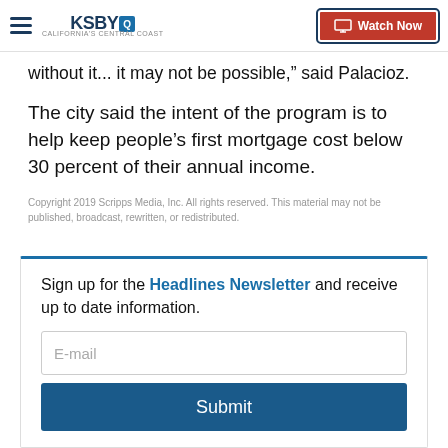KSBY - California's Central Coast | Watch Now
without it... it may not be possible," said Palacioz.
The city said the intent of the program is to help keep people's first mortgage cost below 30 percent of their annual income.
Copyright 2019 Scripps Media, Inc. All rights reserved. This material may not be published, broadcast, rewritten, or redistributed.
Sign up for the Headlines Newsletter and receive up to date information.